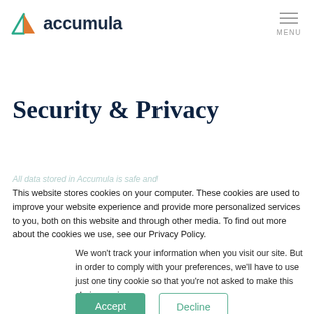accumula | MENU
Security & Privacy
All data stored in Accumula is safe and
This website stores cookies on your computer. These cookies are used to improve your website experience and provide more personalized services to you, both on this website and through other media. To find out more about the cookies we use, see our Privacy Policy.
We won't track your information when you visit our site. But in order to comply with your preferences, we'll have to use just one tiny cookie so that you're not asked to make this choice again.
Accept | Decline